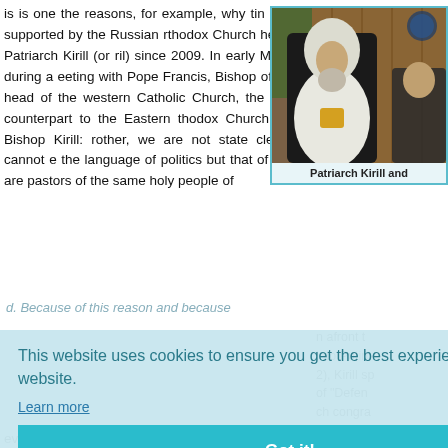is is one the reasons, for example, why tin is openly supported by the Russian rthodox Church headed by Patriarch Kirill (or ril) since 2009. In early May 2022, during a eeting with Pope Francis, Bishop of Rome d head of the western Catholic Church, the eological counterpart to the Eastern thodox Church, he told Bishop Kirill: rother, we are not state clerics, we cannot e the language of politics but that of Jesus. e are pastors of the same holy people of
[Figure (photo): Photo of Patriarch Kirill seated, wearing white vestments and black robe, at a meeting]
Patriarch Kirill and
n afront t into Putin 2), Kirill sp of "Defen ch congra issia," say s to the p ve manife
This website uses cookies to ensure you get the best experience on our website.
Learn more
Got it!
evangelical love for neighbors"[13]. WTF2. Within hours, bombs